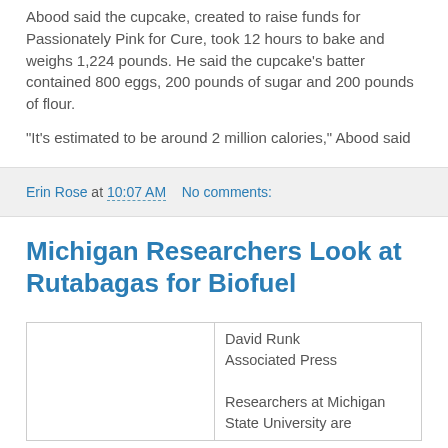Abood said the cupcake, created to raise funds for Passionately Pink for Cure, took 12 hours to bake and weighs 1,224 pounds. He said the cupcake's batter contained 800 eggs, 200 pounds of sugar and 200 pounds of flour.
"It's estimated to be around 2 million calories," Abood said
Erin Rose at 10:07 AM   No comments:
Michigan Researchers Look at Rutabagas for Biofuel
David Runk
Associated Press

Researchers at Michigan State University are